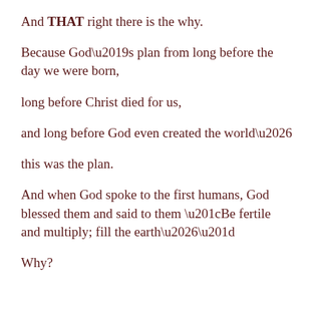And THAT right there is the why.
Because God's plan from long before the day we were born,
long before Christ died for us,
and long before God even created the world…
this was the plan.
And when God spoke to the first humans, God blessed them and said to them “Be fertile and multiply; fill the earth…”
Why?